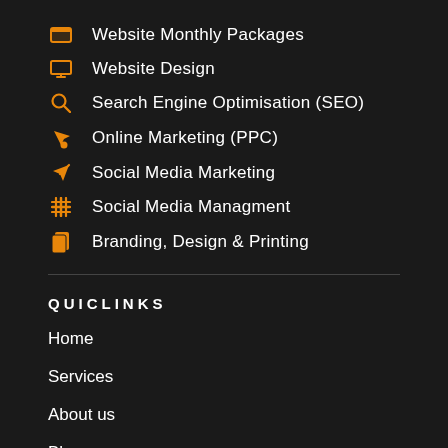Website Monthly Packages
Website Design
Search Engine Optimisation (SEO)
Online Marketing (PPC)
Social Media Marketing
Social Media Managment
Branding, Design & Printing
QUICLINKS
Home
Services
About us
Blog
Contact us
Terms & Conditions